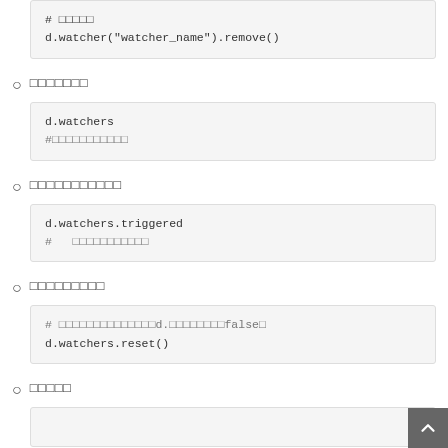一覧表示
d.watchers
#ウォッチャーの一覧
トリガー確認
d.watchers.triggered
#   トリガーの一覧
リセット
# ウォッチャーをすべてd.ウォッチャーをfalseに
d.watchers.reset()
削除